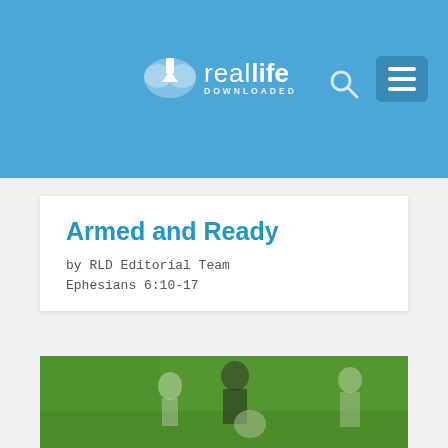real life DOWNLOADED
Armed and Ready
by RLD Editorial Team
Ephesians 6:10-17
[Figure (photo): Green-tinted photo of teenagers outdoors in a park with trees in background, three young people smiling and playing]